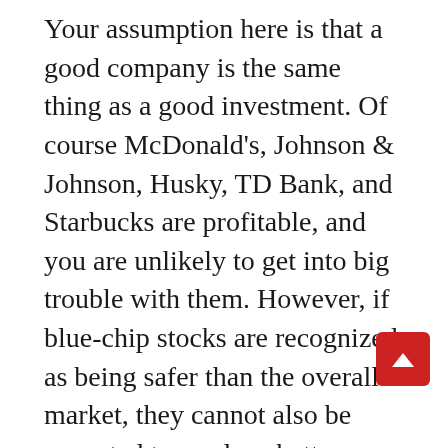Your assumption here is that a good company is the same thing as a good investment. Of course McDonald's, Johnson & Johnson, Husky, TD Bank, and Starbucks are profitable, and you are unlikely to get into big trouble with them. However, if blue-chip stocks are recognized as being safer than the overall market, they cannot also be expected to produce better-than-market returns. You pay a premium for safety. If you didn't, then investing would be a no-brainer.
The irony is that the “bad” companies often turn out to deliver the highest returns. Because people have such low expectations of them, they are priced cheaply, and if they do better than expected, they can be outstanding performers.